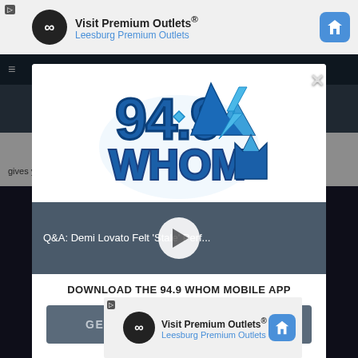[Figure (screenshot): Ad banner at top: Visit Premium Outlets Leesburg Premium Outlets with infinity logo and navigation icon]
[Figure (screenshot): 94.9 WHOM radio station modal popup with logo, video thumbnail for Q&A Demi Lovato article, download app prompt, and Amazon Alexa integration]
Q&A: Demi Lovato Felt 'Stale' Perf...
DOWNLOAD THE 94.9 WHOM MOBILE APP
GET OUR FREE MOBILE APP
Also listen on:  amazon alexa
[Figure (screenshot): Ad banner at bottom: Visit Premium Outlets Leesburg Premium Outlets with infinity logo and navigation icon]